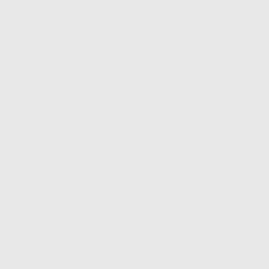| Part Number | Manufacturer |
| --- | --- |
|  | Texas Instruments |
| LMH6321TSX/NOPB | Texas Instruments |
| 5962-3870501BPA | Texas Instruments |
| LM1086CT-5.0/NOPB | Texas Instruments |
| M38510/11804SYA | Texas Instruments |
| M38510/10201SIA | Texas Instruments |